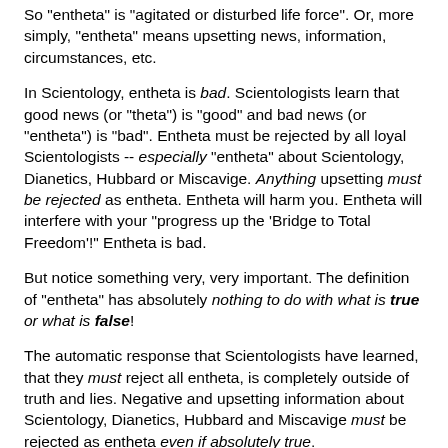So "entheta" is "agitated or disturbed life force". Or, more simply, "entheta" means upsetting news, information, circumstances, etc.
In Scientology, entheta is bad. Scientologists learn that good news (or "theta") is "good" and bad news (or "entheta") is "bad". Entheta must be rejected by all loyal Scientologists -- especially "entheta" about Scientology, Dianetics, Hubbard or Miscavige. Anything upsetting must be rejected as entheta. Entheta will harm you. Entheta will interfere with your "progress up the 'Bridge to Total Freedom'!" Entheta is bad.
But notice something very, very important. The definition of "entheta" has absolutely nothing to do with what is true or what is false!
The automatic response that Scientologists have learned, that they must reject all entheta, is completely outside of truth and lies. Negative and upsetting information about Scientology, Dianetics, Hubbard and Miscavige must be rejected as entheta even if absolutely true.